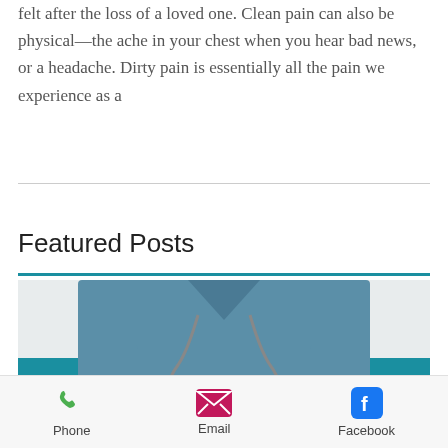felt after the loss of a loved one. Clean pain can also be physical—the ache in your chest when you hear bad news, or a headache. Dirty pain is essentially all the pain we experience as a
Featured Posts
[Figure (photo): A veterinarian in blue scrubs with a stethoscope holding a brown and white Cavalier King Charles Spaniel dog.]
Phone  Email  Facebook